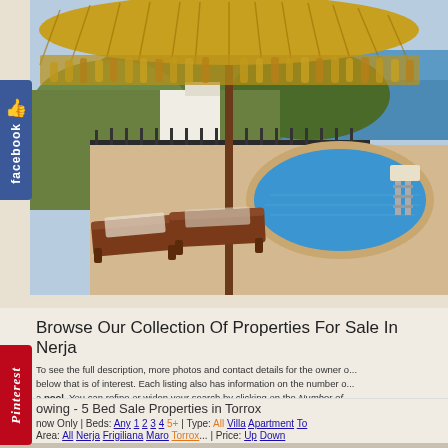[Figure (photo): Outdoor pool area with thatched umbrella/palapa, sun loungers/deck chairs in foreground, swimming pool, iron fence railing, Spanish villa buildings, hillside with greenery, and Mediterranean sea in background under blue sky.]
Browse Our Collection Of Properties For Sale In Nerja
To see the full description, more photos and contact details for the owner o... below that is of interest. Each listing also has information on the number o... a pool. You can refine or widen your search by clicking on the Number of...
owing - 5 Bed Sale Properties in Torrox
Show Only | Beds: Any 1 2 3 4 5+ | Type: All Villa Apartment To...
Area: All Nerja Frigiliana Maro Torrox | Price: Up Down